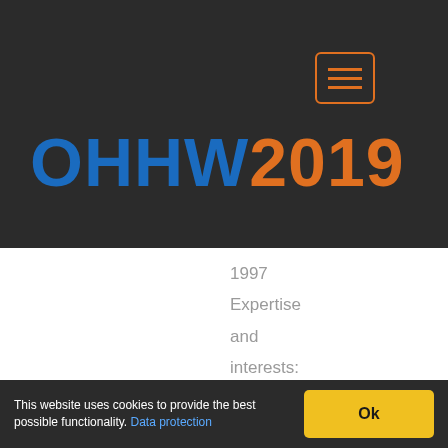[Figure (screenshot): Navigation bar with hamburger menu icon in orange border and search box on dark background]
OHHW2019
1997 Expertise and interests: Epidemiology, particularly
This website uses cookies to provide the best possible functionality. Data protection Ok